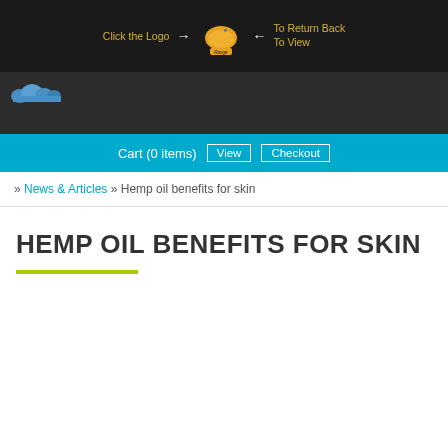Click the Logo → [Logo] ← To Return Back To View
[Figure (screenshot): Dark navigation area with cloud icon on the left]
Cart (0 items)  View  Checkout
» News & Articles » Hemp oil benefits for skin
HEMP OIL BENEFITS FOR SKIN